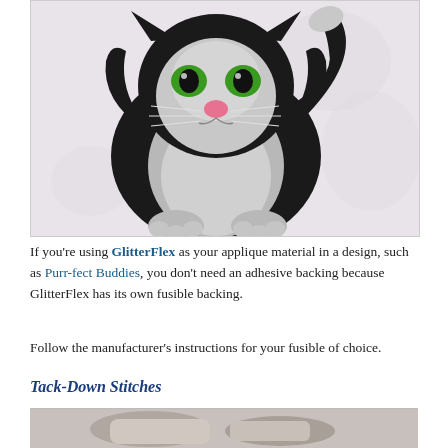[Figure (photo): Embroidered black and white cat with green eyes on a light patterned fabric background]
If you're using GlitterFlex as your applique material in a design, such as Purr-fect Buddies, you don't need an adhesive backing because GlitterFlex has its own fusible backing.
Follow the manufacturer's instructions for your fusible of choice.
Tack-Down Stitches
[Figure (photo): Close-up photo partially visible at bottom of page, appears to show embroidery or sewing tools]